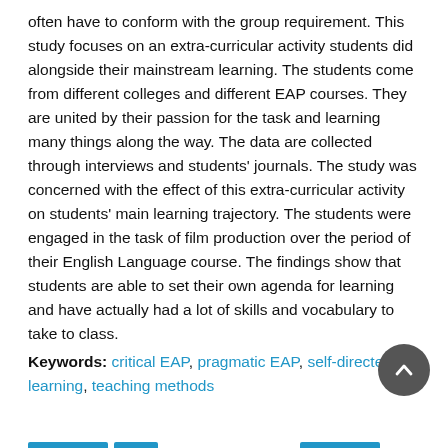often have to conform with the group requirement. This study focuses on an extra-curricular activity students did alongside their mainstream learning. The students come from different colleges and different EAP courses. They are united by their passion for the task and learning many things along the way. The data are collected through interviews and students' journals. The study was concerned with the effect of this extra-curricular activity on students' main learning trajectory. The students were engaged in the task of film production over the period of their English Language course. The findings show that students are able to set their own agenda for learning and have actually had a lot of skills and vocabulary to take to class.
Keywords: critical EAP, pragmatic EAP, self-directed learning, teaching methods